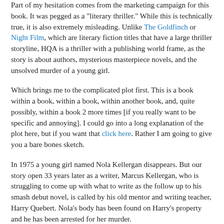Part of my hesitation comes from the marketing campaign for this book. It was pegged as a "literary thriller." While this is technically true, it is also extremely misleading. Unlike The Goldfinch or Night Film, which are literary fiction titles that have a large thriller storyline, HQA is a thriller with a publishing world frame, as the story is about authors, mysterious masterpiece novels, and the unsolved murder of a young girl.
Which brings me to the complicated plot first. This is a book within a book, within a book, within another book, and, quite possibly, within a book 2 more times [if you really want to be specific and annoying]. I could go into a long explanation of the plot here, but if you want that click here. Rather I am going to give you a bare bones sketch.
In 1975 a young girl named Nola Kellergan disappears. But our story open 33 years later as a writer, Marcus Kellergan, who is struggling to come up with what to write as the follow up to his smash debut novel, is called by his old mentor and writing teacher, Harry Quebert. Nola's body has been found on Harry's property and he has been arrested for her murder.